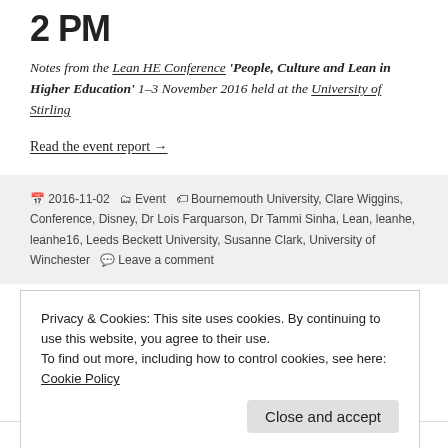2 PM
Notes from the Lean HE Conference 'People, Culture and Lean in Higher Education' 1–3 November 2016 held at the University of Stirling
Read the event report →
2016-11-02   Event   Bournemouth University, Clare Wiggins, Conference, Disney, Dr Lois Farquarson, Dr Tammi Sinha, Lean, leanhe, leanhe16, Leeds Beckett University, Susanne Clark, University of Winchester   Leave a comment
Privacy & Cookies: This site uses cookies. By continuing to use this website, you agree to their use.
To find out more, including how to control cookies, see here: Cookie Policy
Notes from the Lean HE Conference People, Culture and